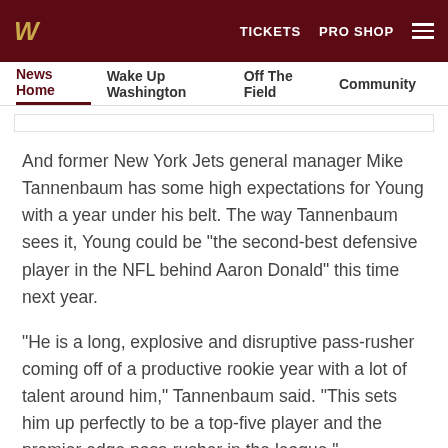W TICKETS PRO SHOP
News Home  Wake Up Washington  Off The Field  Community
And former New York Jets general manager Mike Tannenbaum has some high expectations for Young with a year under his belt. The way Tannenbaum sees it, Young could be "the second-best defensive player in the NFL behind Aaron Donald" this time next year.
"He is a long, explosive and disruptive pass-rusher coming off of a productive rookie year with a lot of talent around him," Tannenbaum said. "This sets him up perfectly to be a top-five player and the premier edge pass-rusher in the league."
[Figure (other): Social sharing icons: Facebook, Twitter, Email, Link]